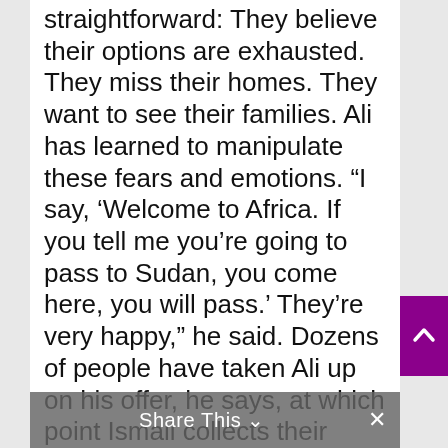straightforward: They believe their options are exhausted. They miss their homes. They want to see their families. Ali has learned to manipulate these fears and emotions. “I say, ‘Welcome to Africa. If you tell me you’re going to pass to Sudan, you come here, you will pass.’ They’re very happy,” he said. Dozens of people have taken Ali up on his offer, he says, at which point Ismail collects their information and money and hands it over to a man named George, the Ugandan minder who picked the new arrivals up at the airport — essentially the Ugandan version of John. Within hours of securing their agreement, George returns with individualized Ugandan
Share This ⌄